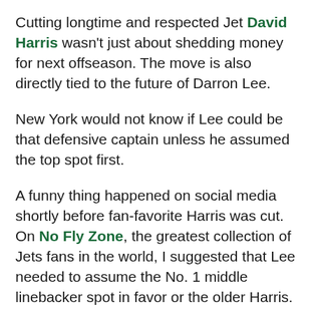Cutting longtime and respected Jet David Harris wasn't just about shedding money for next offseason. The move is also directly tied to the future of Darron Lee.
New York would not know if Lee could be that defensive captain unless he assumed the top spot first.
A funny thing happened on social media shortly before fan-favorite Harris was cut. On No Fly Zone, the greatest collection of Jets fans in the world, I suggested that Lee needed to assume the No. 1 middle linebacker spot in favor or the older Harris.
I am immediately able to that Jets fans will